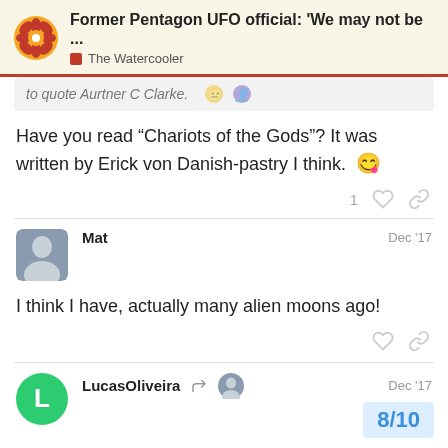Former Pentagon UFO official: 'We may not be ... — The Watercooler
to quote Aurtner C Clarke.
Have you read “Chariots of the Gods”? It was written by Erick von Danish-pastry I think. 😋
Mat — Dec '17
I think I have, actually many alien moons ago!
LucasOliveira — Dec '17
8/10